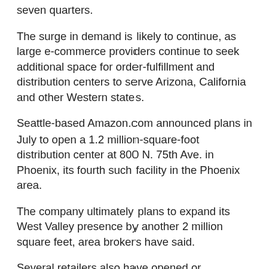seven quarters.
The surge in demand is likely to continue, as large e-commerce providers continue to seek additional space for order-fulfillment and distribution centers to serve Arizona, California and other Western states.
Seattle-based Amazon.com announced plans in July to open a 1.2 million-square-foot distribution center at 800 N. 75th Ave. in Phoenix, its fourth such facility in the Phoenix area.
The company ultimately plans to expand its West Valley presence by another 2 million square feet, area brokers have said.
Several retailers also have opened or expanded regional distribution centers in the West Valley recently, including Gap.com and Macys.com.
Most fulfillment- and distribution-center jobs are relatively low-level positions involving unskilled labor.